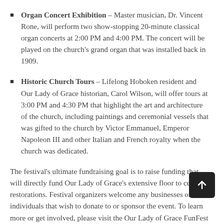Organ Concert Exhibition – Master musician, Dr. Vincent Rone, will perform two show-stopping 20-minute classical organ concerts at 2:00 PM and 4:00 PM. The concert will be played on the church's grand organ that was installed back in 1909.
Historic Church Tours – Lifelong Hoboken resident and Our Lady of Grace historian, Carol Wilson, will offer tours at 3:00 PM and 4:30 PM that highlight the art and architecture of the church, including paintings and ceremonial vessels that was gifted to the church by Victor Emmanuel, Emperor Napoleon III and other Italian and French royalty when the church was dedicated.
The festival's ultimate fundraising goal is to raise funding that will directly fund Our Lady of Grace's extensive floor to ceiling restorations. Festival organizers welcome any businesses or individuals that wish to donate to or sponsor the event. To learn more or get involved, please visit the Our Lady of Grace FunFest website at: